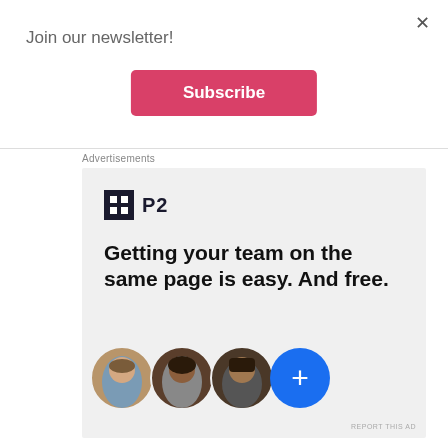×
Join our newsletter!
Subscribe
Advertisements
[Figure (logo): P2 logo: dark square icon with H-like symbol, followed by text 'P2']
Getting your team on the same page is easy. And free.
[Figure (photo): Three circular avatar photos of people and a blue circle with a plus sign]
REPORT THIS AD